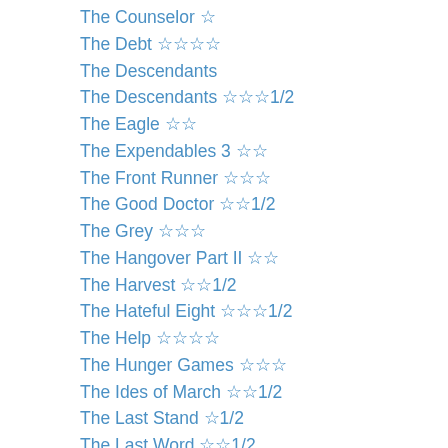The Counselor ☆
The Debt ☆☆☆☆
The Descendants
The Descendants ☆☆☆1/2
The Eagle ☆☆
The Expendables 3 ☆☆
The Front Runner ☆☆☆
The Good Doctor ☆☆1/2
The Grey ☆☆☆
The Hangover Part II ☆☆
The Harvest ☆☆1/2
The Hateful Eight ☆☆☆1/2
The Help ☆☆☆☆
The Hunger Games ☆☆☆
The Ides of March ☆☆1/2
The Last Stand ☆1/2
The Last Word ☆☆1/2
The Nice Guys ☆☆☆
The Phenom ☆☆☆
The Purge ☆☆